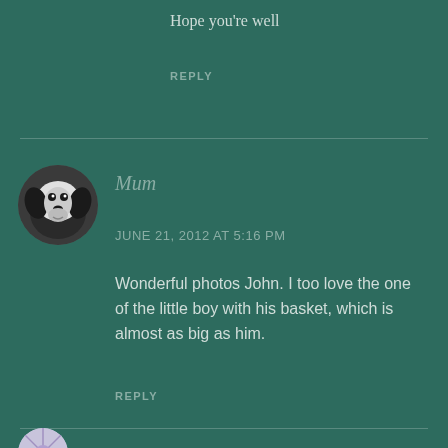Hope you’re well
REPLY
[Figure (photo): Circular avatar photo of a black and white border collie dog]
Mum
JUNE 21, 2012 AT 5:16 PM
Wonderful photos John. I too love the one of the little boy with his basket, which is almost as big as him.
REPLY
[Figure (photo): Partial circular avatar with purple/lavender pattern, bottom of page]